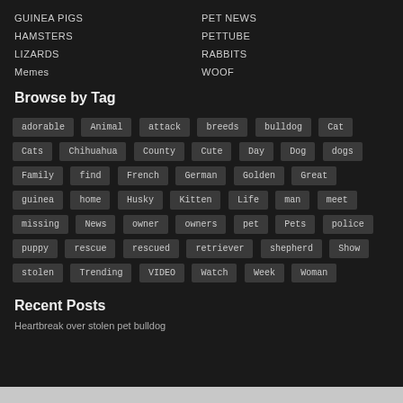GUINEA PIGS
HAMSTERS
LIZARDS
Memes
PET NEWS
PETTUBE
RABBITS
WOOF
Browse by Tag
adorable Animal attack breeds bulldog Cat Cats Chihuahua County Cute Day Dog dogs Family find French German Golden Great guinea home Husky Kitten Life man meet missing News owner owners pet Pets police puppy rescue rescued retriever shepherd Show stolen Trending VIDEO Watch Week Woman
Recent Posts
Heartbreak over stolen pet bulldog